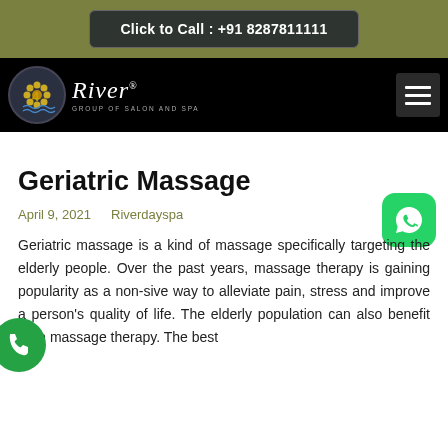Click to Call : +91 8287811111
[Figure (logo): 4 River Group of Salon and Spa logo with sunflower graphic on dark circle, script 'River' text in white]
Geriatric Massage
April 9, 2021   Riverdayspa
Geriatric massage is a kind of massage specifically targeting the elderly people. Over the past years, massage therapy is gaining popularity as a non-sive way to alleviate pain, stress and improve a person's quality of life. The elderly population can also benefit from massage therapy. The best